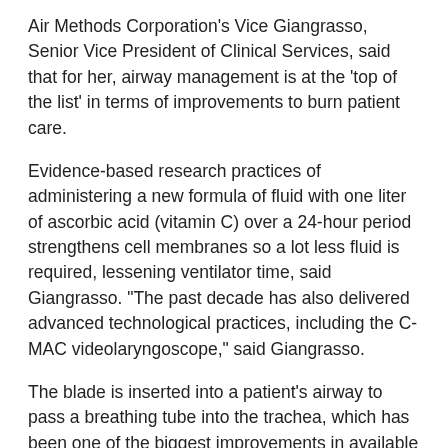Air Methods Corporation's Vice Giangrasso, Senior Vice President of Clinical Services, said that for her, airway management is at the ‘top of the list’ in terms of improvements to burn patient care.
Evidence-based research practices of administering a new formula of fluid with one liter of ascorbic acid (vitamin C) over a 24-hour period strengthens cell membranes so a lot less fluid is required, lessening ventilator time, said Giangrasso. “The past decade has also delivered advanced technological practices, including the C-MAC videolaryngoscope,” said Giangrasso.
The blade is inserted into a patient’s airway to pass a breathing tube into the trachea, which has been one of the biggest improvements in available technology, she explained. “Effectively implementing C-MAC intubation for airway management when patients have an airway injury and need to be intubated can be challenging,” she said. This can be a